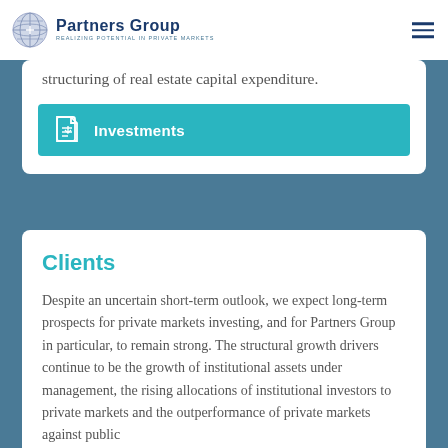Partners Group — REALIZING POTENTIAL IN PRIVATE MARKETS
structuring of real estate capital expenditure.
[Figure (other): Teal button with PDF icon and label 'Investments']
Clients
Despite an uncertain short-term outlook, we expect long-term prospects for private markets investing, and for Partners Group in particular, to remain strong. The structural growth drivers continue to be the growth of institutional assets under management, the rising allocations of institutional investors to private markets and the outperformance of private markets against public